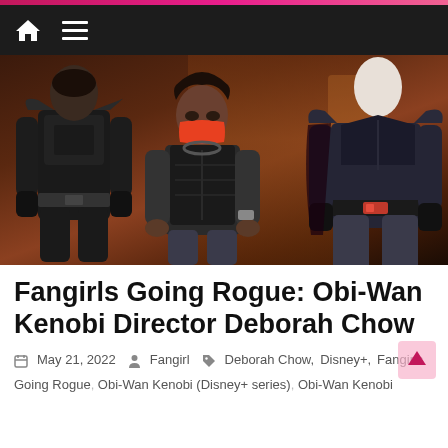Navigation bar with home and menu icons
[Figure (photo): Behind-the-scenes photo of director Deborah Chow wearing an orange mask, flanked by two actors in dark Star Wars-style armor costumes on a film set]
Fangirls Going Rogue: Obi-Wan Kenobi Director Deborah Chow
May 21, 2022   Fangirl   Deborah Chow, Disney+, Fangirls Going Rogue, Obi-Wan Kenobi (Disney+ series), Obi-Wan Kenobi